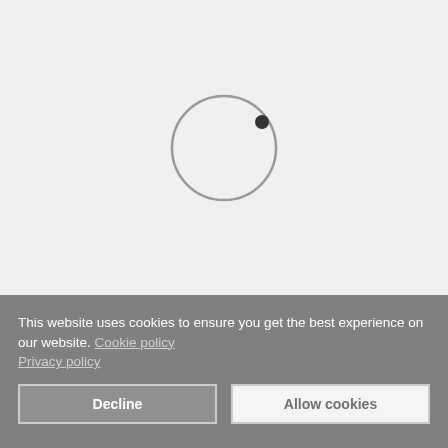[Figure (other): A loading spinner: a light gray circle with a small dark filled circle at approximately the 2 o'clock position, indicating a page loading state. Set against a light gray background.]
This website uses cookies to ensure you get the best experience on our website. Cookie policy Privacy policy
Decline
Allow cookies